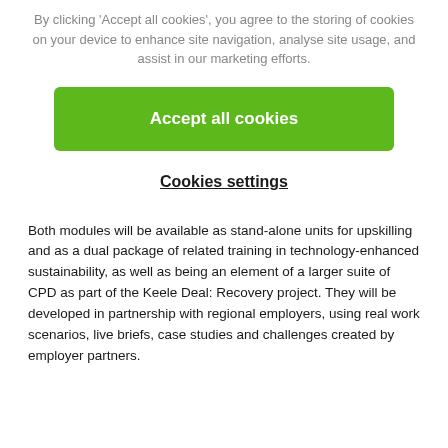By clicking 'Accept all cookies', you agree to the storing of cookies on your device to enhance site navigation, analyse site usage, and assist in our marketing efforts.
Accept all cookies
Cookies settings
Both modules will be available as stand-alone units for upskilling and as a dual package of related training in technology-enhanced sustainability, as well as being an element of a larger suite of CPD as part of the Keele Deal: Recovery project. They will be developed in partnership with regional employers, using real work scenarios, live briefs, case studies and challenges created by employer partners.